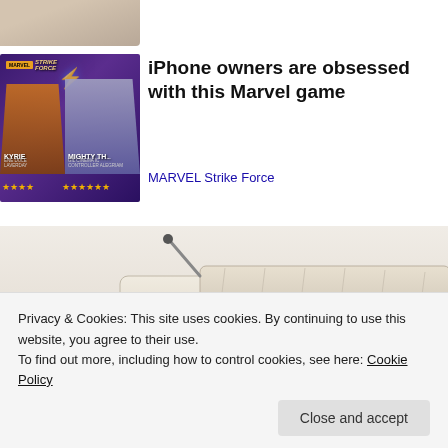[Figure (photo): Partial photo of a person (cropped, top-left corner), showing shoulder/neck area with white background]
[Figure (screenshot): Advertisement image for MARVEL Strike Force game showing characters KYRIE and MIGHTY TH with star ratings]
iPhone owners are obsessed with this Marvel game
MARVEL Strike Force
[Figure (photo): Product photo of a luxury high-tech sofa/sectional with speakers and built-in features, viewed from above at an angle]
Privacy & Cookies: This site uses cookies. By continuing to use this website, you agree to their use.
To find out more, including how to control cookies, see here: Cookie Policy
Close and accept